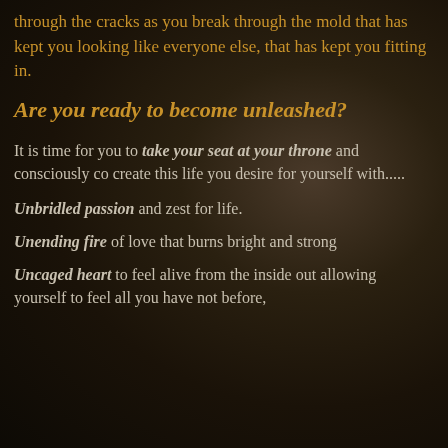through the cracks as you break through the mold that has kept you looking like everyone else, that has kept you fitting in.
Are you ready to become unleashed?
It is time for you to take your seat at your throne and consciously co create this life you desire for yourself with.....
Unbridled passion and zest for life.
Unending fire of love that burns bright and strong
Uncaged heart to feel alive from the inside out allowing yourself to feel all you have not before,